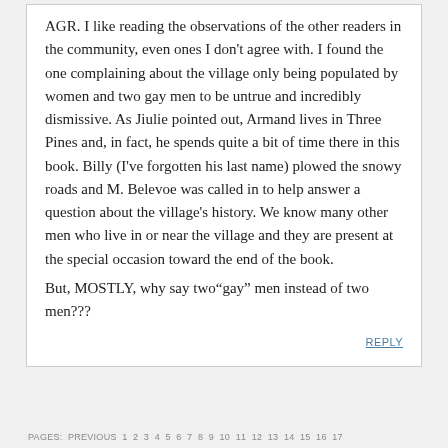AGR. I like reading the observations of the other readers in the community, even ones I don't agree with. I found the one complaining about the village only being populated by women and two gay men to be untrue and incredibly dismissive. As Jiulie pointed out, Armand lives in Three Pines and, in fact, he spends quite a bit of time there in this book. Billy (I've forgotten his last name) plowed the snowy roads and M. Belevoe was called in to help answer a question about the village's history. We know many other men who live in or near the village and they are present at the special occasion toward the end of the book.
But, MOSTLY, why say two“gay” men instead of two men???
REPLY
PAGES: PREVIOUS 1 2 3 4 5 6 7 8 9 10 11 12 13 14 15 16 17